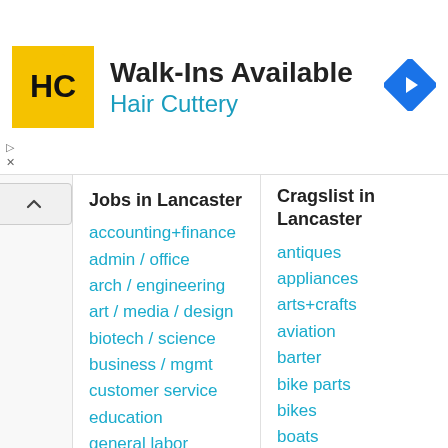[Figure (other): Hair Cuttery advertisement banner with logo, 'Walk-Ins Available' text, and navigation arrow icon]
Jobs in Lancaster
accounting+finance
admin / office
arch / engineering
art / media / design
biotech / science
business / mgmt
customer service
education
general labor
government
Cragslist in Lancaster
antiques
appliances
arts+crafts
aviation
barter
bike parts
bikes
boats
books
business
cars
cds/dvd/vhs